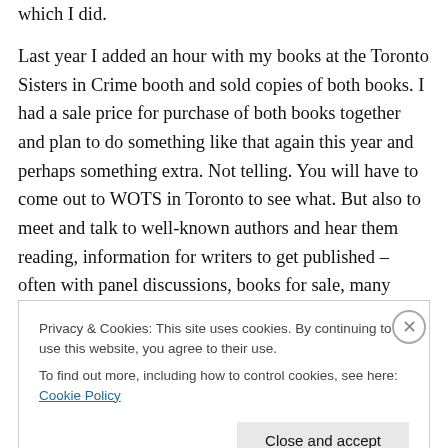which I did.
Last year I added an hour with my books at the Toronto Sisters in Crime booth and sold copies of both books. I had a sale price for purchase of both books together and plan to do something like that again this year and perhaps something extra. Not telling. You will have to come out to WOTS in Toronto to see what. But also to meet and talk to well-known authors and hear them reading, information for writers to get published – often with panel discussions, books for sale, many smaller publishers, writing and editing organizations, plus public libraries, ESL
Privacy & Cookies: This site uses cookies. By continuing to use this website, you agree to their use.
To find out more, including how to control cookies, see here: Cookie Policy
Close and accept